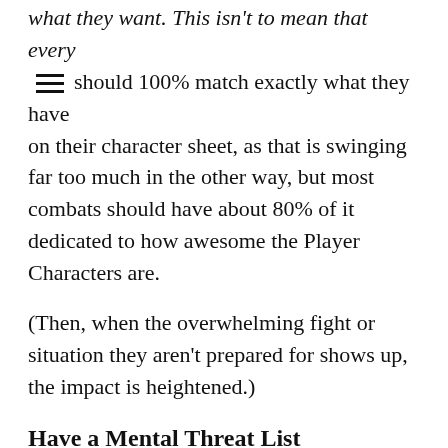what they want. This isn't to mean that every [icon] should 100% match exactly what they have on their character sheet, as that is swinging far too much in the other way, but most combats should have about 80% of it dedicated to how awesome the Player Characters are.
(Then, when the overwhelming fight or situation they aren't prepared for shows up, the impact is heightened.)
Have a Mental Threat List
The more highly armored and battle-hardened a Player Character is, the more likely they are to be attacked – at least until another character shows they are a bigger threat by a massive attack.
You...the Storyteller...shows that it is...